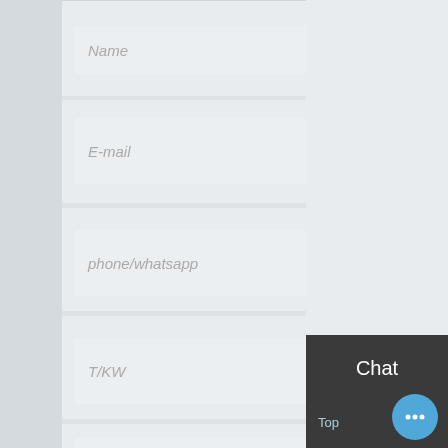[Figure (screenshot): A web contact form showing fields for Name, E-mail, phone/whatsapp, T/KW, Steam Boiler (partially visible), Gas (partially visible), and Message. A WhatsApp icon and 'Contact us now!' green button overlay the form. A dark sidebar panel on the right shows Chat, Email, and Contact options with red dividers. A blue chat bubble icon appears at the bottom right with a 'Top' label. The message field shows a chat bubble with 'Hey, we are live 24/7. How may I help you?']